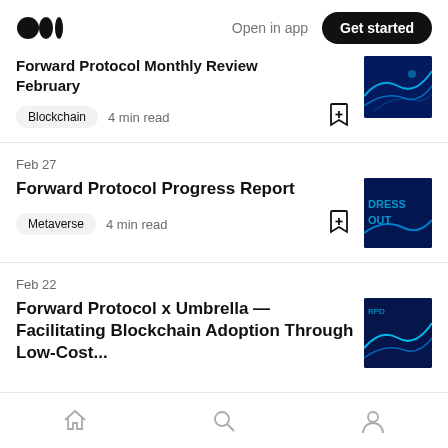Medium logo | Open in app | Get started
Forward Protocol Monthly Review February — Blockchain · 4 min read
Feb 27
Forward Protocol Progress Report
Metaverse · 4 min read
Feb 22
Forward Protocol x Umbrella — Facilitating Blockchain Adoption Through Low-Cost...
Home | Search | Profile